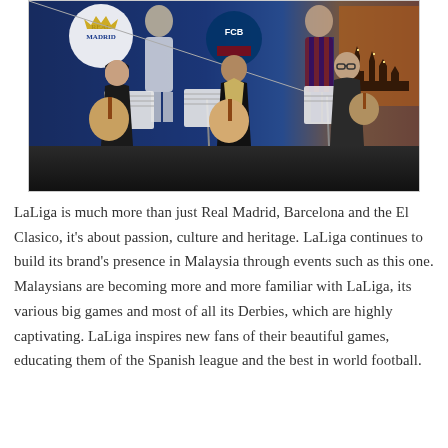[Figure (photo): Three musicians playing string instruments (oud/mandolin-like instruments) seated in front of a backdrop featuring Real Madrid and FC Barcelona football club imagery with players, and a city skyline photo. The performers are performing at what appears to be a LaLiga promotional event in Malaysia.]
LaLiga is much more than just Real Madrid, Barcelona and the El Clasico, it's about passion, culture and heritage. LaLiga continues to build its brand's presence in Malaysia through events such as this one. Malaysians are becoming more and more familiar with LaLiga, its various big games and most of all its Derbies, which are highly captivating. LaLiga inspires new fans of their beautiful games, educating them of the Spanish league and the best in world football.